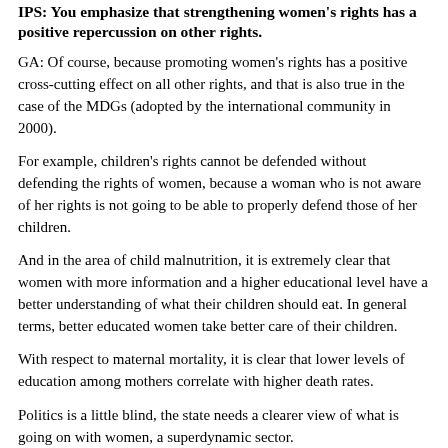IPS: You emphasize that strengthening women's rights has a positive repercussion on other rights.
GA: Of course, because promoting women's rights has a positive cross-cutting effect on all other rights, and that is also true in the case of the MDGs (adopted by the international community in 2000).
For example, children's rights cannot be defended without defending the rights of women, because a woman who is not aware of her rights is not going to be able to properly defend those of her children.
And in the area of child malnutrition, it is extremely clear that women with more information and a higher educational level have a better understanding of what their children should eat. In general terms, better educated women take better care of their children.
With respect to maternal mortality, it is clear that lower levels of education among mothers correlate with higher death rates.
Politics is a little blind, the state needs a clearer view of what is going on with women, a superdynamic sector.
IPS: Can political participation by women correct that shortsightedness?